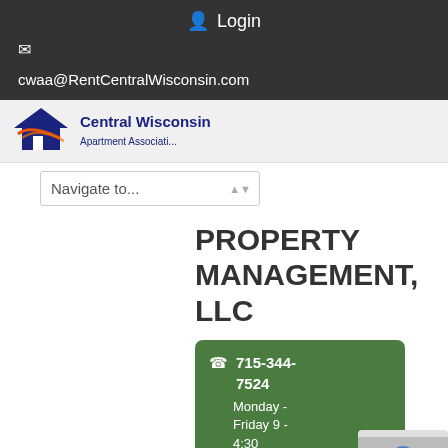Login
cwaa@RentCentralWisconsin.com
[Figure (logo): Central Wisconsin Apartment Association logo with house icon in blue, orange and red]
Navigate to...
PROPERTY MANAGEMENT, LLC
715-344-7524 Monday - Friday 9 - 4:30 www.rentcand rent@rentcand